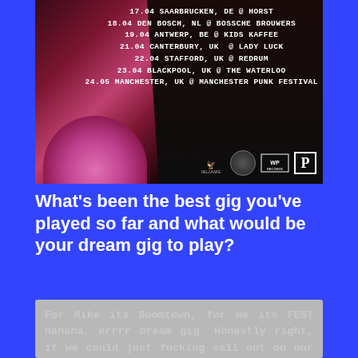[Figure (photo): Tour poster with performer in pink tutu on dark background, showing European tour dates and record label logos]
What's been the best gig you've played so far and what would be your dream gig to play?
For Mike its Boomtown, for me its FEST hahaha, errrr dream gig. Honestly right, if we could just fucking sell out on our own